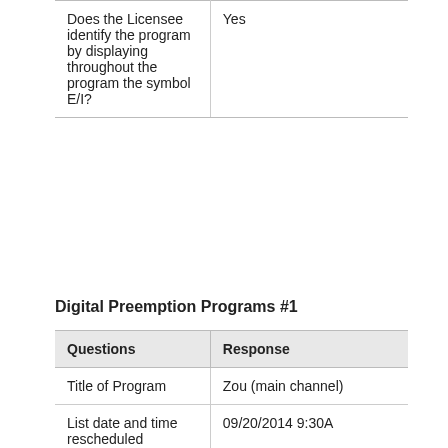| Questions | Response |
| --- | --- |
| Does the Licensee identify the program by displaying throughout the program the symbol E/I? | Yes |
Digital Preemption Programs #1
| Questions | Response |
| --- | --- |
| Title of Program | Zou (main channel) |
| List date and time rescheduled | 09/20/2014 9:30A |
| Is the rescheduled date the | No |